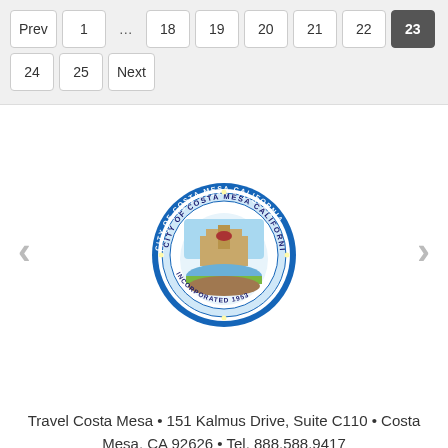Prev 1 ... 18 19 20 21 22 23 24 25 Next
[Figure (logo): City of Costa Mesa California official seal — circular seal with city imagery and text 'CITY OF COSTA MESA CALIFORNIA' and 'INCORPORATED 1953']
Travel Costa Mesa • 151 Kalmus Drive, Suite C110 • Costa Mesa, CA 92626 • Tel. 888.588.9417
Copyright © 2022 Travel Costa Mesa
www.travelcostamesa.com